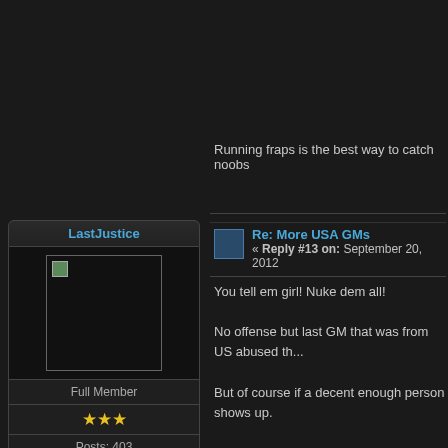Running fraps is the best way to catch noobs
LastJustice
[Figure (photo): Broken avatar image thumbnail for user LastJustice]
Full Member
★★★
Posts: 403
Onlajn gengsta bruh.
[Figure (illustration): Small person/profile icon]
Re: More USA GMs
« Reply #13 on: September 20, 2012
You tell em girl! Nuke dem all!

No offense but last GM that was from US abused th...

But of course if a decent enough person shows up.
Dawoobie
[Figure (illustration): Wolf avatar image for user Dawoobie]
Re: More USA GMs
« Reply #14 on: September 20, 2012
Quote from: LastJustice on September 20, 2012, 05:3...